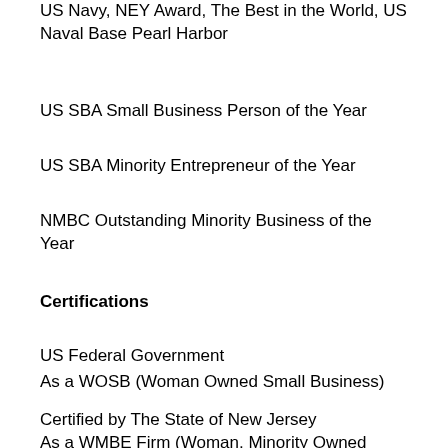US Navy, NEY Award, The Best in the World, US Naval Base Pearl Harbor
US SBA Small Business Person of the Year
US SBA Minority Entrepreneur of the Year
NMBC Outstanding Minority Business of the Year
Certifications
US Federal Government
As a WOSB (Woman Owned Small Business)
Certified by The State of New Jersey
As a WMBE Firm (Woman, Minority Owned Firm)